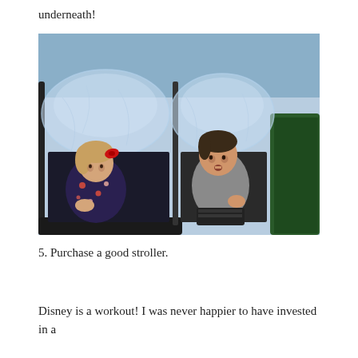underneath!
[Figure (photo): Two young children sitting in a double stroller covered with a clear plastic rain cover. The child on the left is a girl wearing a dark floral dress with a red bow in her hair. The child on the right is a boy wearing a grey t-shirt and black shorts. The stroller appears to be parked next to a dark green surface.]
5. Purchase a good stroller.
Disney is a workout! I was never happier to have invested in a